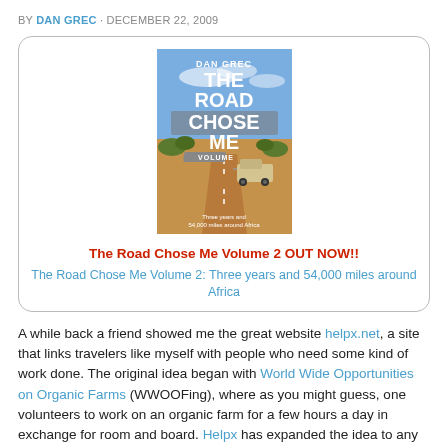BY DAN GREC · DECEMBER 22, 2009
[Figure (illustration): Book cover for 'The Road Chose Me Volume 2' by Dan Grec, showing a dirt road in Africa with a jeep, blue sky and African landscape. Text on cover reads: DAN GREC, THE ROAD CHOSE ME, VOLUME, Three years and 54,000 miles around Africa.]
The Road Chose Me Volume 2 OUT NOW!!
The Road Chose Me Volume 2: Three years and 54,000 miles around Africa
A while back a friend showed me the great website helpx.net, a site that links travelers like myself with people who need some kind of work done. The original idea began with World Wide Opportunities on Organic Farms (WWOOFing), where as you might guess, one volunteers to work on an organic farm for a few hours a day in exchange for room and board. Helpx has expanded the idea to any